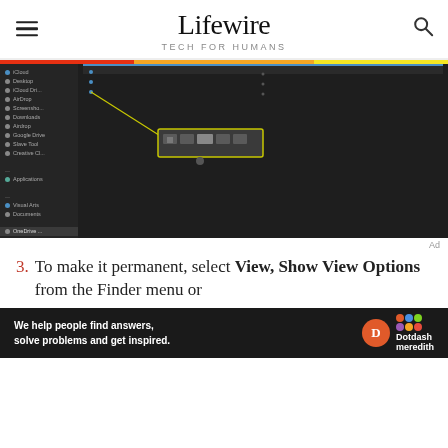Lifewire TECH FOR HUMANS
[Figure (screenshot): Dark-themed macOS Finder window with sidebar showing various locations (iCloud, Applications, Documents, etc.) and a toolbar popup box highlighted with a yellow border showing view options]
3. To make it permanent, select View, Show View Options from the Finder menu or